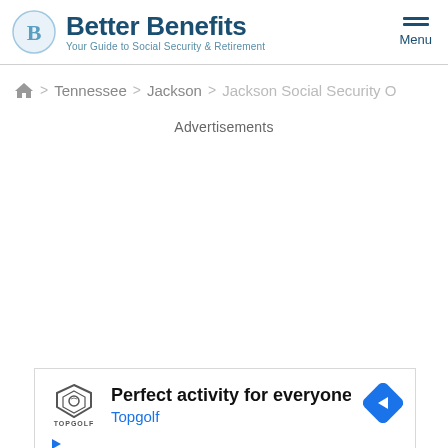Better Benefits — Your Guide to Social Security & Retirement
Home > Tennessee > Jackson > Jackson Social Security O
Advertisements
[Figure (other): Topgolf advertisement: 'Perfect activity for everyone' with Topgolf logo and navigation arrow icon]